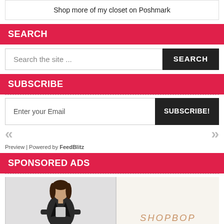Shop more of my closet on Poshmark
SEARCH
Search the site ...
SEARCH
SUBSCRIBE
Enter your Email
SUBSCRIBE!
Preview | Powered by FeedBlitz
SPONSORED ADS
[Figure (photo): Woman in black leather jacket and jeans]
[Figure (logo): SHOPBOP advertisement with text THE BEST on cream background]